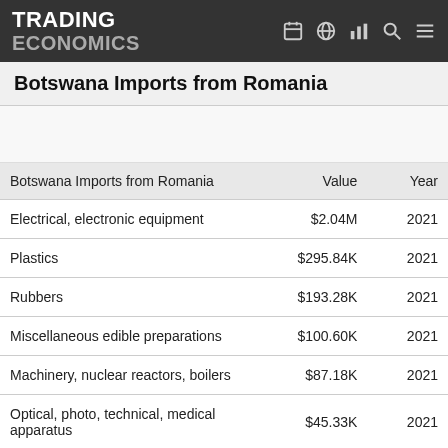TRADING ECONOMICS
Botswana Imports from Romania
| Botswana Imports from Romania | Value | Year |
| --- | --- | --- |
| Electrical, electronic equipment | $2.04M | 2021 |
| Plastics | $295.84K | 2021 |
| Rubbers | $193.28K | 2021 |
| Miscellaneous edible preparations | $100.60K | 2021 |
| Machinery, nuclear reactors, boilers | $87.18K | 2021 |
| Optical, photo, technical, medical apparatus | $45.33K | 2021 |
| Articles of iron or steel | $35.07K | 2021 |